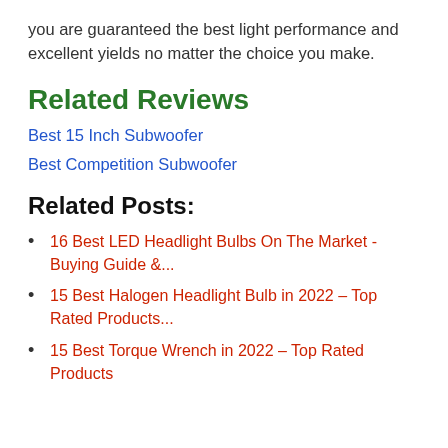you are guaranteed the best light performance and excellent yields no matter the choice you make.
Related Reviews
Best 15 Inch Subwoofer
Best Competition Subwoofer
Related Posts:
16 Best LED Headlight Bulbs On The Market - Buying Guide &...
15 Best Halogen Headlight Bulb in 2022 – Top Rated Products...
15 Best Torque Wrench in 2022 – Top Rated Products